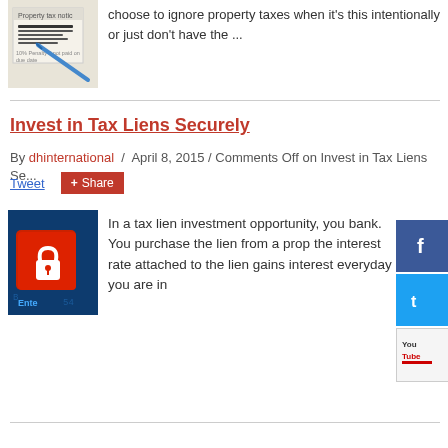[Figure (photo): Property tax notice document with a blue pen on top]
choose to ignore property taxes when it's this intentionally or just don't have the ...
Invest in Tax Liens Securely
By dhinternational / April 8, 2015 / Comments Off on Invest in Tax Liens Se...
Tweet  Share
[Figure (photo): Red keyboard key with a white padlock icon and 'Enter' text visible, on a blue keyboard background]
In a tax lien investment opportunity, you bank. You purchase the lien from a prop the interest rate attached to the lien gains interest everyday you are in